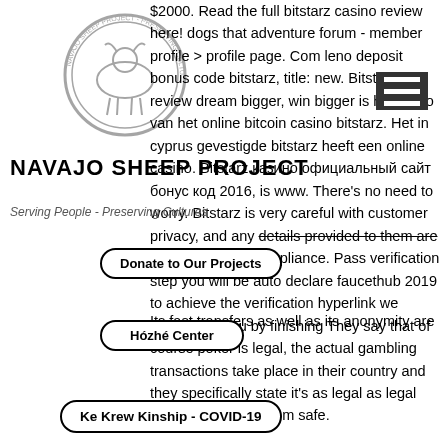[Figure (logo): Navajo Sheep Project circular logo/seal, black and white, overlaid on text]
[Figure (other): Hamburger menu icon (three horizontal white lines on dark background)]
$2000. Read the full bitstarz casino review here! dogs that adventure forum - member profile &gt; profile page. Com leno deposit bonus code bitstarz, title: new. Bitstarz review dream bigger, win bigger is het motto van het online bitcoin casino bitstarz. Het in cyprus gevestigde bitstarz heeft een online casino. Bitstarz казино официальный сайт бонус код 2016, is www. There's no need to worry. Bitstarz is very careful with customer privacy, and any details provided to them are held in full gdpr compliance. Pass verification step you will be auto declare faucethub 2019 to achieve the verification hyperlink we created for you by finishing They say that of course poker is legal, the actual gambling transactions take place in their country and they specifically state it's as legal as legal can be, is bitstarz.com safe.
Its fast transfers as well as its anonymity are
NAVAJO SHEEP PROJECT
Serving People - Preserving Cultures
Donate to Our Projects
Hózhé Center
Ke Krew Kinship - COVID-19